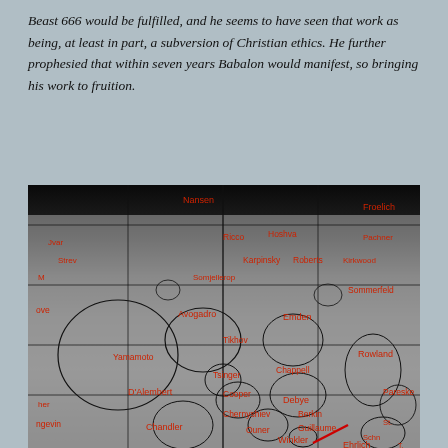Beast 666 would be fulfilled, and he seems to have seen that work as being, at least in part, a subversion of Christian ethics. He further prophesied that within seven years Babalon would manifest, so bringing his work to fruition.
[Figure (photo): Annotated photograph of a lunar surface (far side of the Moon) with crater names labeled in red text overlaid on a grayscale image. Black ellipses outline crater boundaries. A grid of black lines divides the image into sections. Visible crater names include: Nansen, Froelich, Ricco, Hoshva, Karpinsky, Roberts, Kirkwood, Sommerfeld, Avogadro, Emden, Tihov, Yamamoto, Tsinger, Chappell, Cooper, D'Alembert, Rowland, Pareski, Debye, Chernyshiev, Berkin, Guillaume, Langevin, Chandler, Ouner, Winkler, Ehrlich, Schr. A red diagonal line is visible near the bottom center-right.]